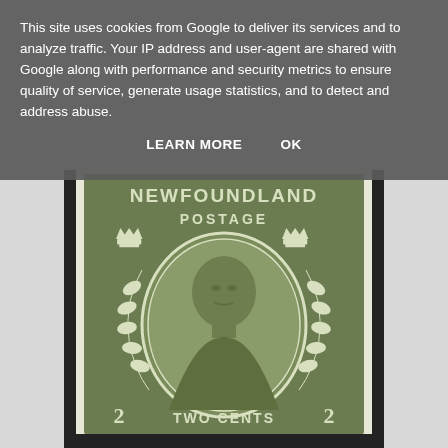[Figure (photo): A Newfoundland 2 cent postage stamp featuring King George V portrait in an oval frame, surrounded by laurel wreaths and two crowns, with 'NEWFOUNDLAND POSTAGE' at top and 'TWO CENTS' at bottom, printed in olive green.]
This site uses cookies from Google to deliver its services and to analyze traffic. Your IP address and user-agent are shared with Google along with performance and security metrics to ensure quality of service, generate usage statistics, and to detect and address abuse.
LEARN MORE   OK